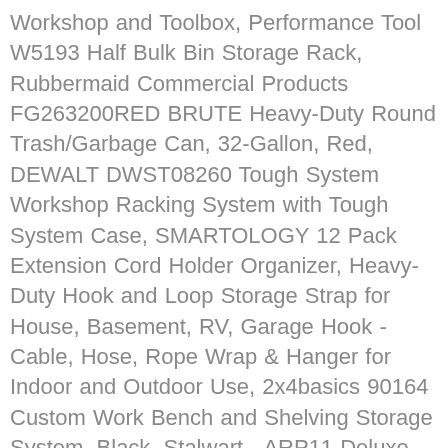Workshop and Toolbox, Performance Tool W5193 Half Bulk Bin Storage Rack, Rubbermaid Commercial Products FG263200RED BRUTE Heavy-Duty Round Trash/Garbage Can, 32-Gallon, Red, DEWALT DWST08260 Tough System Workshop Racking System with Tough System Case, SMARTOLOGY 12 Pack Extension Cord Holder Organizer, Heavy-Duty Hook and Loop Storage Strap for House, Basement, RV, Garage Hook - Cable, Hose, Rope Wrap & Hanger for Indoor and Outdoor Use, 2x4basics 90164 Custom Work Bench and Shelving Storage System, Black, Stalwart - ARP11 Deluxe 42 Drawer Compartment Storage Box, Blue, 10 Targets, Akro-Mils 44 Drawer 10144, Plastic Parts Storage Hardware and Craft Cabinet, (20-Inch W x 6-Inch D x 16-Inch H), Black (1-Pack), Pegboard Hooks Assortment, Plastic Bins, Peg Locks, for Organizing Tools, 140pcs, Garage Storage Hooks, Heavy Duty Storage Utility Hooks, Steel Wall Mount Hooks, Garden Tool Organizer, 6-Pack (Type-1), Wall Control 30-WRK-400GB Standard Workbench Metal Pegboard Tool